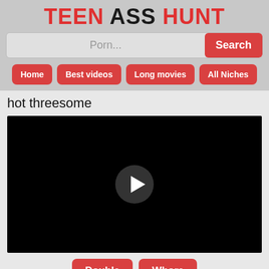TEEN ASS HUNT
Porn...
Home
Best videos
Long movies
All Niches
hot threesome
[Figure (screenshot): Black video player with a play button in the center]
Double
Whore